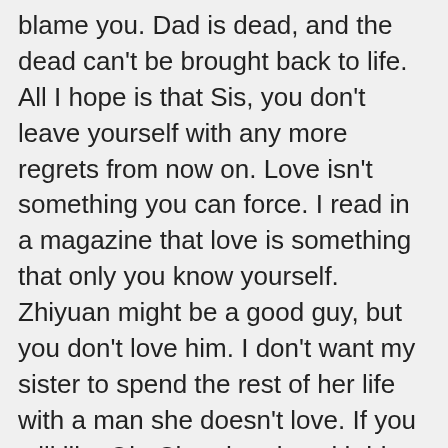blame you. Dad is dead, and the dead can't be brought back to life. All I hope is that Sis, you don't leave yourself with any more regrets from now on. Love isn't something you can force. I read in a magazine that love is something that only you know yourself. Zhiyuan might be a good guy, but you don't love him. I don't want my sister to spend the rest of her life with a man she doesn't love. If you still like Qin Chu, then be with him. Even if Mom doesn't approve it, even if she hates you or screams at you, I won't. I would understand. Blame should be placed on those responsible, and what the Qin Family did can't be pinned on Qin Chu. So, I'm going to say this again, I'll be happy as long as you are happy, Sis."
By the time Jing Zhixin finished speaking, Huo Mian's